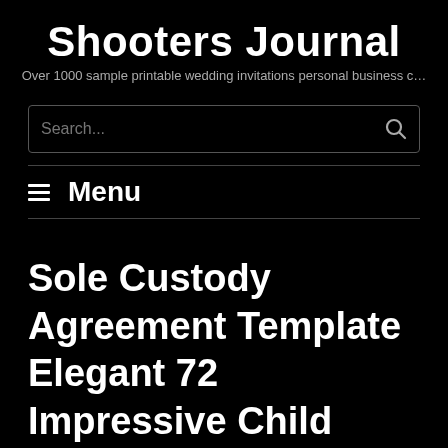Shooters Journal
Over 1000 sample printable wedding invitations personal business c…
Search...
≡ Menu
Sole Custody Agreement Template Elegant 72 Impressive Child Custody Agreement form Tario